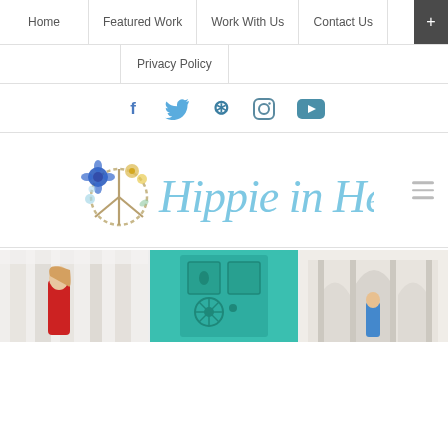Home | Featured Work | Work With Us | Contact Us | + | Privacy Policy
[Figure (infographic): Social media icons: Facebook, Twitter, Pinterest, Instagram, YouTube]
[Figure (logo): Hippie in Heels logo with peace sign and floral decoration, script text]
[Figure (photo): Three thumbnail photos: woman in red at white columns (snowy), teal ornate door, woman in blue at white arched architecture]